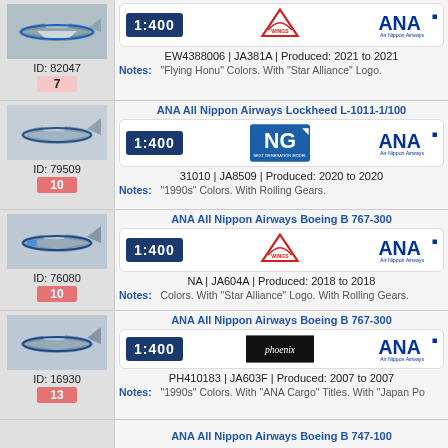| Image/ID | Model Info |
| --- | --- |
| ID: 82047 | 7 | EW4388006 | JA381A | Produced: 2021 to 2021 | Notes: "Flying Honu" Colors. With "Star Alliance" Logo. |
| ID: 79509 | 10 | ANA All Nippon Airways Lockheed L-1011-1/100 | 31010 | JA8509 | Produced: 2020 to 2020 | Notes: "1990s" Colors. With Rolling Gears. |
| ID: 76080 | 10 | ANA All Nippon Airways Boeing B 767-300 | NA | JA604A | Produced: 2018 to 2018 | Notes: Colors. With "Star Alliance" Logo. With Rolling Gears. |
| ID: 16930 | 13 | ANA All Nippon Airways Boeing B 767-300 | PH410183 | JA603F | Produced: 2007 to 2007 | Notes: "1990s" Colors. With "ANA Cargo" Titles. With "Japan Po... |
|  | ANA All Nippon Airways Boeing B 747-100 |